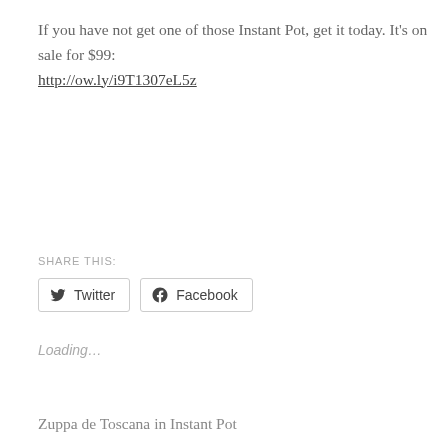If you have not get one of those Instant Pot, get it today. It's on sale for $99: http://ow.ly/i9T1307eL5z
SHARE THIS:
Twitter
Facebook
Loading...
Zuppa de Toscana in Instant Pot